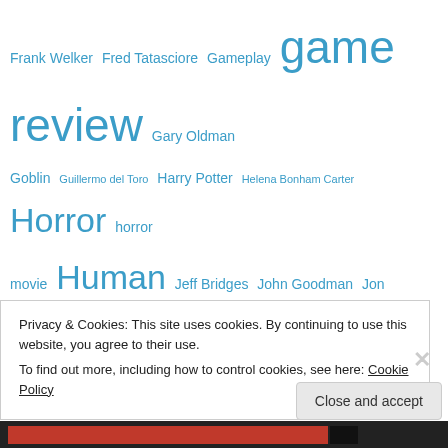Frank Welker Fred Tatasciore Gameplay game review Gary Oldman Goblin Guillermo del Toro Harry Potter Helena Bonham Carter Horror horror movie Human Jeff Bridges John Goodman Jon Favreau Karl Urban Keanu Reeves Kristen Stewart Laurence Fishburne Leonard Nimoy Liam Neeson Marvel Michael Sheen Morgan Freeman movie review Movies Nerd Poker Nick Frost Nolan North Ranger review Robert Bicket Robert Downey Jr. Robert Pattinson Robert Reviews Stuff Rogue Samuel L. Jackson Sigourney Weaver Simon Pegg Spider-Man Stan Lee Star Trek Star Wars Stellan Skarsgard Stephen King Sylvester Stallone television review Tiefling Tom Felton Troy Baker Video
Privacy & Cookies: This site uses cookies. By continuing to use this website, you agree to their use.
To find out more, including how to control cookies, see here: Cookie Policy
Close and accept